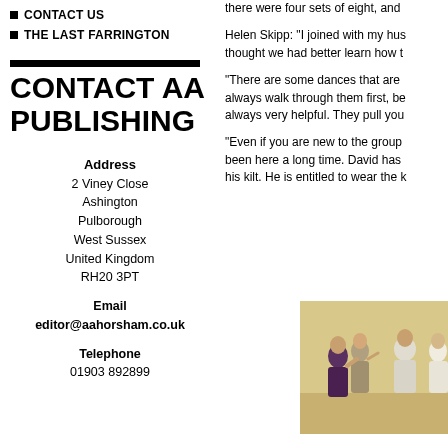CONTACT US
THE LAST FARRINGTON
CONTACT AA PUBLISHING
Address
2 Viney Close
Ashington
Pulborough
West Sussex
United Kingdom
RH20 3PT
Email
editor@aahorsham.co.uk
Telephone
01903 892899
there were four sets of eight, and
Helen Skipp: "I joined with my hus thought we had better learn how t
"There are some dances that are always walk through them first, be always very helpful. They pull you
"Even if you are new to the group been here a long time. David has his kilt. He is entitled to wear the
[Figure (photo): People dancing together in a hall, elderly couples doing Scottish country dancing]